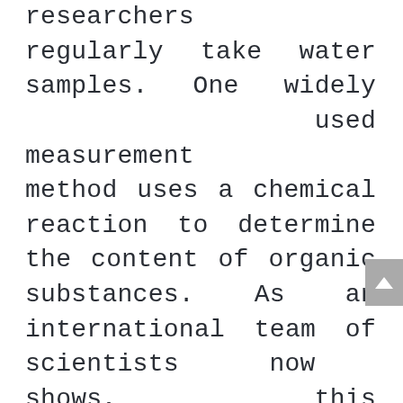researchers regularly take water samples. One widely used measurement method uses a chemical reaction to determine the content of organic substances. As an international team of scientists now shows, this established method provides values from which the actual degree of the water pollution can hardly be derived. Prof. Helmuth Thomas, Director of Hereon's